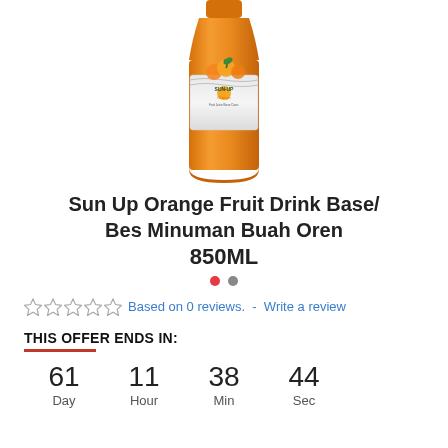[Figure (photo): Sun Up Orange fruit drink bottle, orange-colored bottle with oranges on label]
Sun Up Orange Fruit Drink Base/ Bes Minuman Buah Oren 850ML
Based on 0 reviews. - Write a review
THIS OFFER ENDS IN:
61 Day  11 Hour  38 Min  44 Sec